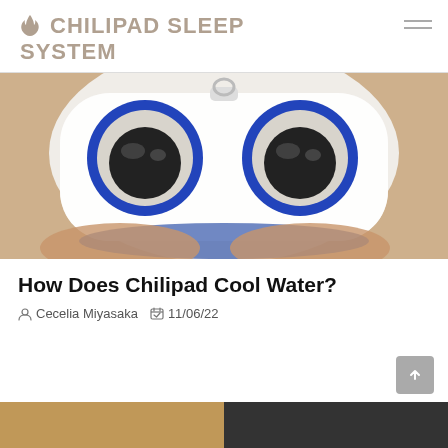CHILIPAD SLEEP SYSTEM
[Figure (photo): Close-up photo of a white plastic device connector with two circular ports/openings, each with a blue ring and dark interior tubes, held in a hand. Appears to be the Chilipad water connector.]
How Does Chilipad Cool Water?
Cecelia Miyasaka   11/06/22
[Figure (photo): Bottom of page shows the beginning of another image, partially visible.]